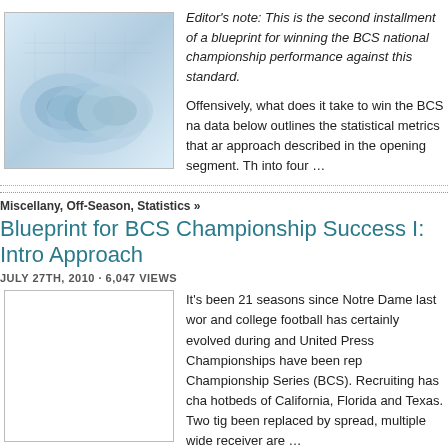[Figure (photo): Rolled blueprint/architectural plans viewed from above, light blue tones]
Editor's note: This is the second installment of a blueprint for winning the BCS national championship performance against this standard.
Offensively, what does it take to win the BCS national championship? The data below outlines the statistical metrics that are central to the approach described in the opening segment. The … into four …
Miscellany, Off-Season, Statistics »
Blueprint for BCS Championship Success I: Introduction & Approach
JULY 27TH, 2010 · 6,047 VIEWS
[Figure (photo): Placeholder image for article thumbnail]
It's been 21 seasons since Notre Dame last won and college football has certainly evolved during that time. Associated Press and United Press Championships have been replaced by the Bowl Championship Series (BCS). Recruiting has changed, with new hotbeds of California, Florida and Texas. Two tight ends and a fullback have been replaced by spread, multiple wide receiver formations. Times are …